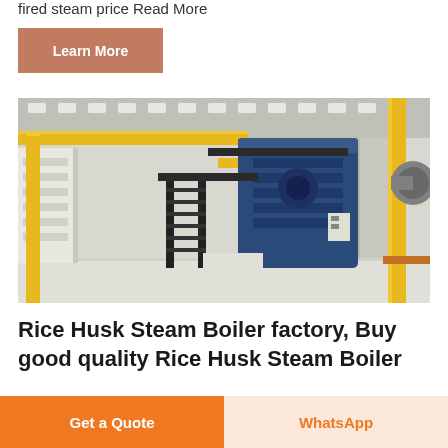fired steam price Read More
Learn More
[Figure (photo): Industrial boiler facility interior showing large blue steam boiler with yellow piping, black metal staircase, and white flooring in a factory setting]
Rice Husk Steam Boiler factory, Buy good quality Rice Husk Steam Boiler
Get a Quote
WhatsApp